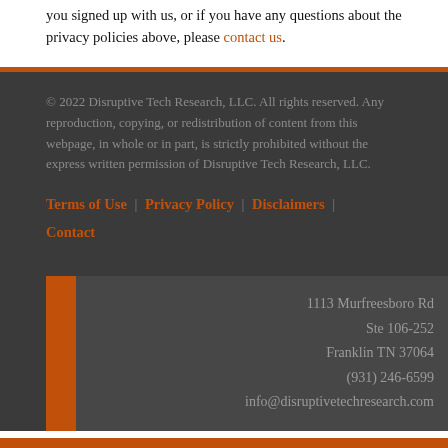you signed up with us, or if you have any questions about the privacy policies above, please contact us.
© 2022 Disruptive Tech Research, LLC. All rights reserved. Any reproduction, copying, or redistribution of content from this webpage, in whole or in part, is strictly prohibited without the express written permission of Disruptive Tech Research, LLC.
Terms of Use | Privacy Policy | Disclaimers | Contact
1113 Murfreesboro Rd
Ste 106-252
Franklin TN 37064
(931) 246-6599
info@disruptivetechresearch.com